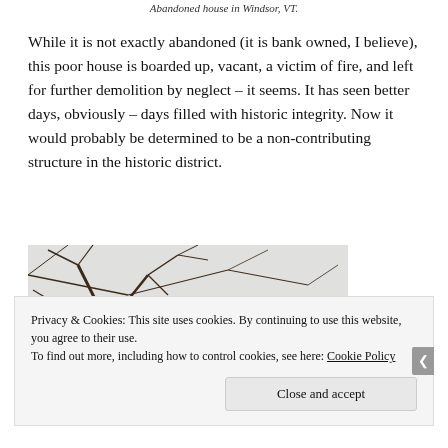Abandoned house in Windsor, VT.
While it is not exactly abandoned (it is bank owned, I believe), this poor house is boarded up, vacant, a victim of fire, and left for further demolition by neglect – it seems. It has seen better days, obviously – days filled with historic integrity. Now it would probably be determined to be a non-contributing structure in the historic district.
[Figure (photo): Photo of bare winter tree branches against a light sky with the peaked roofline of a house visible below.]
Privacy & Cookies: This site uses cookies. By continuing to use this website, you agree to their use.
To find out more, including how to control cookies, see here: Cookie Policy